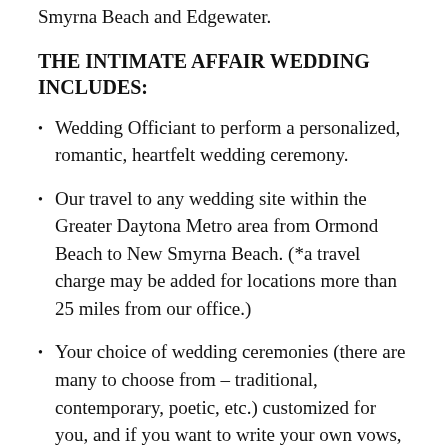Smyrna Beach and Edgewater.
THE INTIMATE AFFAIR WEDDING INCLUDES:
Wedding Officiant to perform a personalized, romantic, heartfelt wedding ceremony.
Our travel to any wedding site within the Greater Daytona Metro area from Ormond Beach to New Smyrna Beach. (*a travel charge may be added for locations more than 25 miles from our office.)
Your choice of wedding ceremonies (there are many to choose from – traditional, contemporary, poetic, etc.) customized for you, and if you want to write your own vows, we are happy to